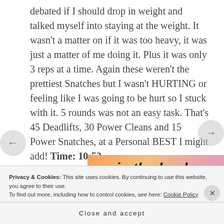debated if I should drop in weight and talked myself into staying at the weight. It wasn't a matter on if it was too heavy, it was just a matter of me doing it. Plus it was only 3 reps at a time. Again these weren't the prettiest Snatches but I wasn't HURTING or feeling like I was going to be hurt so I stuck with it. 5 rounds was not an easy task. That's 45 Deadlifts, 30 Power Cleans and 15 Power Snatches, at a Personal BEST I might add! Time: 10:53
[Figure (illustration): Colorful gradient image with text 'in the back.' in bold italic black font, orange/pink/purple gradient background]
Privacy & Cookies: This site uses cookies. By continuing to use this website, you agree to their use.
To find out more, including how to control cookies, see here: Cookie Policy
Close and accept